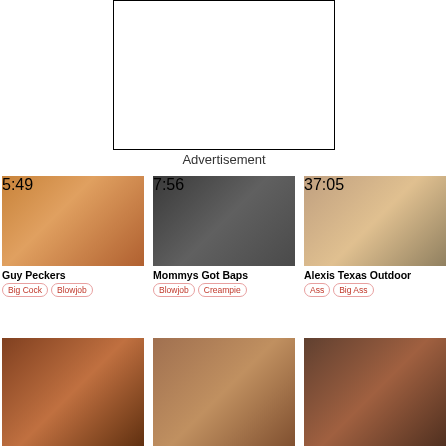[Figure (other): Advertisement placeholder box, empty white rectangle with black border]
Advertisement
[Figure (other): Video thumbnail: Guy Peckers, duration 5:49]
Guy Peckers
Big Cock  Blowjob
[Figure (other): Video thumbnail: Mommys Got Baps, duration 7:56]
Mommys Got Baps
Blowjob  Creampie
[Figure (other): Video thumbnail: Alexis Texas Outdoor, duration 37:05]
Alexis Texas Outdoor
Ass  Big Ass
[Figure (other): Video thumbnail row 2, first thumbnail]
[Figure (other): Video thumbnail row 2, second thumbnail]
[Figure (other): Video thumbnail row 2, third thumbnail]